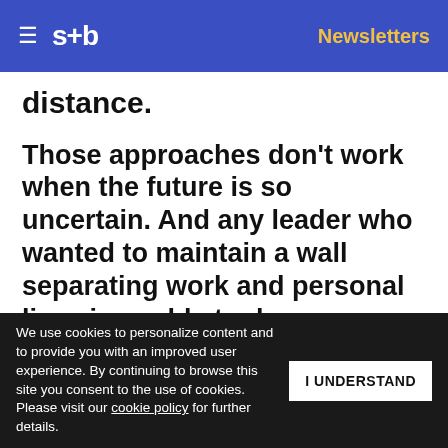s+b  Newsletters
distance.
Those approaches don't work when the future is so uncertain. And any leader who wanted to maintain a wall separating work and personal lives is unable to do so anymore, given that people are working from home and dealing with additional stresses and strains. It's well known that empathy and reliability are hallmarks of leadership. Now
Get s+b's award-winning newsletter delivered to your inbox.
We use cookies to personalize content and to provide you with an improved user experience. By continuing to browse this site you consent to the use of cookies. Please visit our cookie policy for further details.